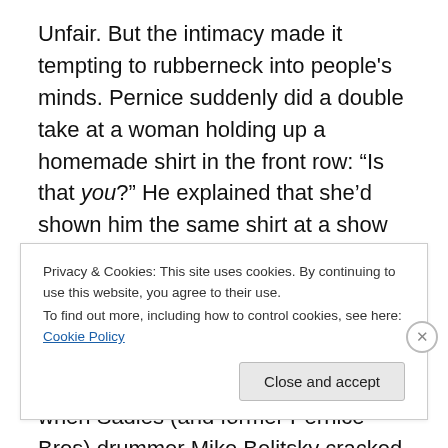Unfair. But the intimacy made it tempting to rubberneck into people's minds. Pernice suddenly did a double take at a woman holding up a homemade shirt in the front row: “Is that you?” He explained that she’d shown him the same shirt at a show in another town 15 years ago – when her parents brought her, and she was, “like, 13. … Wait, I don’t like the way that sounds.” The dysfunctional-neighbourhood feel was cemented when Sadies (and former Pernice Bros) drummer Mike Belitsky cracked the singer up so much from the back of the room with a text message (his iPhone was on the table, to watch the time)
Privacy & Cookies: This site uses cookies. By continuing to use this website, you agree to their use.
To find out more, including how to control cookies, see here: Cookie Policy